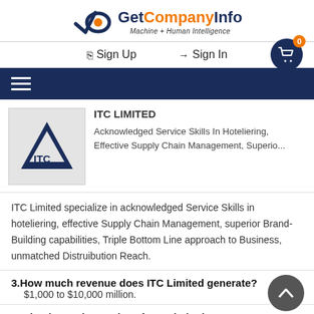GetCompanyInfo — Machine + Human Intelligence
Sign Up   Sign In
[Figure (logo): GetCompanyInfo logo with checkmark/eye icon, text 'GetCompanyInfo' and tagline 'Machine + Human Intelligence']
[Figure (logo): ITC Limited company logo — dark blue triangle with ITC text]
ITC LIMITED
Acknowledged Service Skills In Hoteliering, Effective Supply Chain Management, Superio...
ITC Limited specialize in acknowledged Service Skills in hoteliering, effective Supply Chain Management, superior Brand-Building capabilities, Triple Bottom Line approach to Business, unmatched Distruibution Reach.
3.How much revenue does ITC Limited generate?
$1,000 to $10,000 million.
4.What is employee size of ITC Limited?